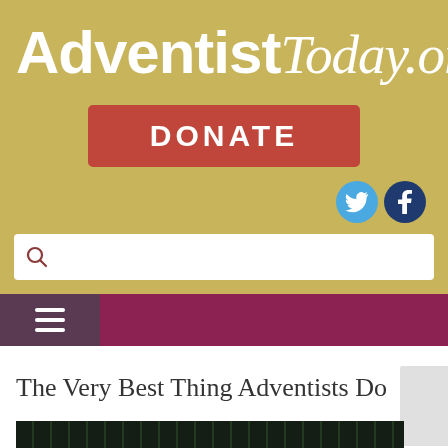[Figure (logo): AdventistToday.org website logo with bold sans-serif 'Adventist' and italic serif 'Today.org' in white on gold/tan background]
[Figure (infographic): Red DONATE button centered on gold background]
[Figure (infographic): Twitter and Facebook social media icon circles in top right]
[Figure (infographic): White search bar with magnifying glass icon]
[Figure (infographic): Navigation bar with hamburger menu icon on dark purple left section and maroon right section]
The Very Best Thing Adventists Do
[Figure (photo): Partial dark green/black image at bottom, appears to be medical or electronic equipment]